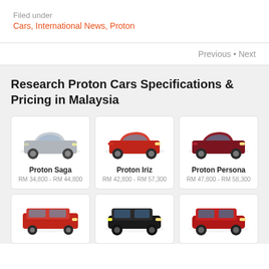Filed under
Cars, International News, Proton
Previous • Next
Research Proton Cars Specifications & Pricing in Malaysia
[Figure (other): Proton Saga car image - silver sedan]
Proton Saga
RM 34,800 - RM 44,800
[Figure (other): Proton Iriz car image - red hatchback/crossover]
Proton Iriz
RM 42,800 - RM 57,300
[Figure (other): Proton Persona car image - dark red sedan]
Proton Persona
RM 47,800 - RM 58,300
[Figure (other): Proton Exora car image - red MPV]
[Figure (other): Proton X50 car image - black SUV]
[Figure (other): Proton X70 car image - red SUV]